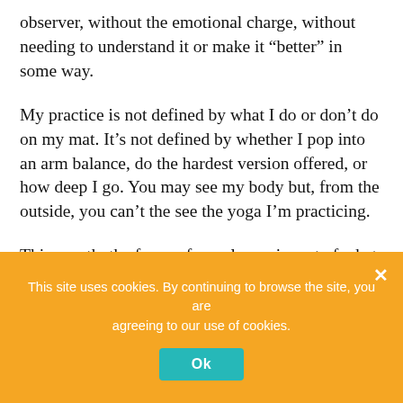observer, without the emotional charge, without needing to understand it or make it “better” in some way.
My practice is not defined by what I do or don’t do on my mat. It’s not defined by whether I pop into an arm balance, do the hardest version offered, or how deep I go. You may see my body but, from the outside, you can’t the see the yoga I’m practicing.
This month, the focus of my classes is part of what sets my yoga practice apart from the other movement I do in life and sport — one of the philosophical foundations of this practice, the Yamas.
To me, practicing the Yamas on my mat is really about using the different poses to move through different sensations and experiences. I can notice, release, and systematically free myself from the beliefs and stories that stand in my way of being comfortable being myself.
As I step back to watch myself with curiosity, I can start
This site uses cookies. By continuing to browse the site, you are agreeing to our use of cookies.